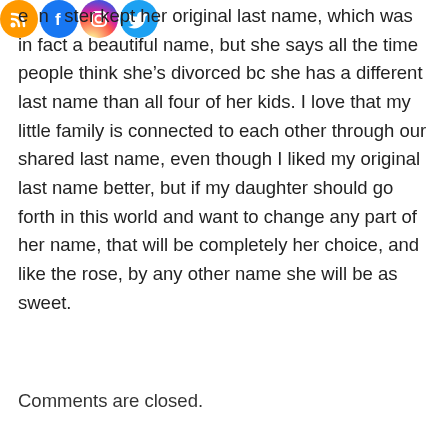[Figure (logo): Four social media icons in a row: RSS (orange), Facebook (blue), Instagram (gradient), Twitter (light blue)]
e...n...ster kept her original last name, which was in fact a beautiful name, but she says all the time people think she's divorced bc she has a different last name than all four of her kids. I love that my little family is connected to each other through our shared last name, even though I liked my original last name better, but if my daughter should go forth in this world and want to change any part of her name, that will be completely her choice, and like the rose, by any other name she will be as sweet.
Comments are closed.